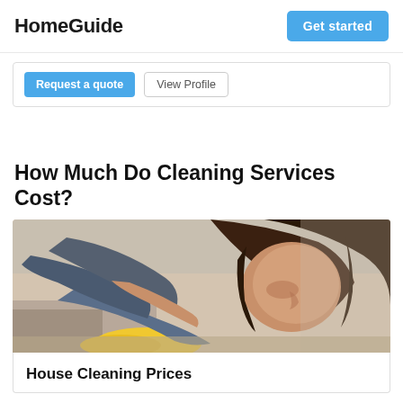HomeGuide
Get started
Request a quote  View Profile
How Much Do Cleaning Services Cost?
[Figure (photo): Woman with long brown hair wearing a dark blue/grey shirt, leaning over a surface and cleaning with a yellow cloth/sponge. Kitchen background visible.]
House Cleaning Prices